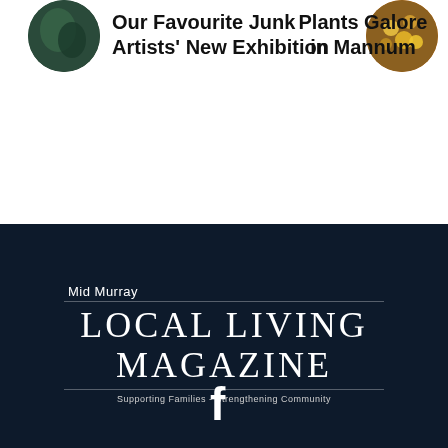[Figure (photo): Circular thumbnail image top left, dark green tones]
Our Favourite Junk Artists' New Exhibition
[Figure (photo): Circular thumbnail image top right, yellow/orange flowers]
Plants Galore in Mannum
[Figure (logo): Mid Murray Local Living Magazine logo with tagline 'Supporting Families - Strengthening Community' on dark navy background]
[Figure (illustration): Facebook icon 'f' in white on dark navy background]